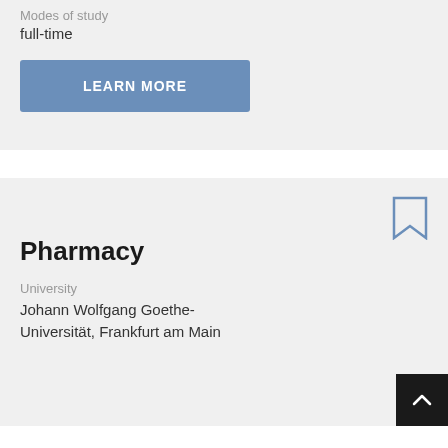Modes of study
full-time
LEARN MORE
Pharmacy
University
Johann Wolfgang Goethe-Universität, Frankfurt am Main